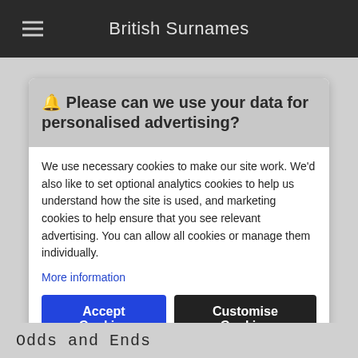British Surnames
🔔 Please can we use your data for personalised advertising?
We use necessary cookies to make our site work. We'd also like to set optional analytics cookies to help us understand how the site is used, and marketing cookies to help ensure that you see relevant advertising. You can allow all cookies or manage them individually.
More information
Accept Cookies
Customise Cookies
Odds and Ends